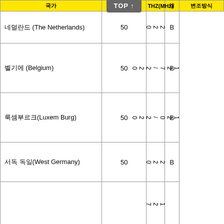| 국가 | THZ(MHz) | 채널 | 변조방식 |
| --- | --- | --- | --- |
| 네덜란드 (The Netherlands) | 50 | 220 | B |
| 벨기에 (Belgium) | 50 | 127/220 | B |
| 룩셈부르크(Luxem Burg) | 50 | 120/220 | B |
| 서독 독일(West Germany) | 50 | 220 | B |
| (partial row) |  | 127 |  |